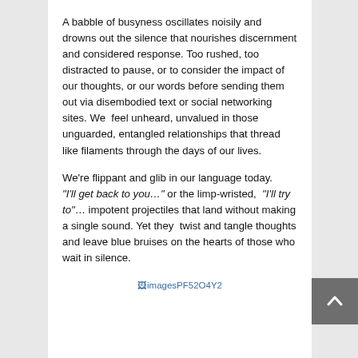A babble of busyness oscillates noisily and drowns out the silence that nourishes discernment and considered response. Too rushed, too distracted to pause, or to consider the impact of our thoughts, or our words before sending them out via disembodied text or social networking sites. We feel unheard, unvalued in those unguarded, entangled relationships that thread like filaments through the days of our lives.
We're flippant and glib in our language today. "I'll get back to you..." or the limp-wristed, "I'll try to"... impotent projectiles that land without making a single sound. Yet they twist and tangle thoughts and leave blue bruises on the hearts of those who wait in silence.
[Figure (other): Broken image placeholder showing imagesPF52O4Y2]